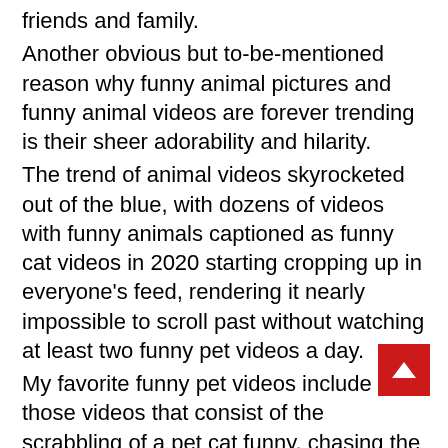friends and family.
Another obvious but to-be-mentioned reason why funny animal pictures and funny animal videos are forever trending is their sheer adorability and hilarity.
The trend of animal videos skyrocketed out of the blue, with dozens of videos with funny animals captioned as funny cat videos in 2020 starting cropping up in everyone's feed, rendering it nearly impossible to scroll past without watching at least two funny pet videos a day.
My favorite funny pet videos include those videos that consist of the scrabbling of a pet cat funny, chasing the speck of light. Or the videos where funny puppies in cute little tutus try to keep all of your attention on them. Or one of the elephant paintings, which honestly puts my drawing skills to shame. And pretty birds are receiving more action than me for the past half decade.